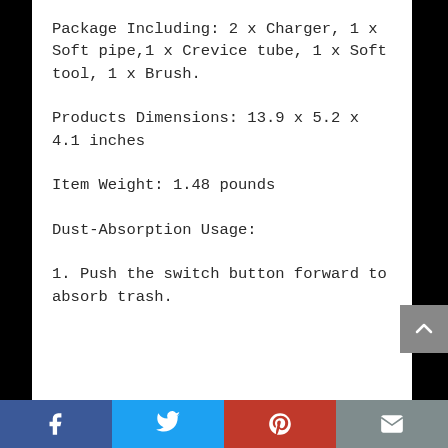Package Including: 2 x Charger, 1 x Soft pipe,1 x Crevice tube, 1 x Soft tool, 1 x Brush.
Products Dimensions: 13.9 x 5.2 x 4.1 inches
Item Weight: 1.48 pounds
Dust-Absorption Usage:
1. Push the switch button forward to absorb trash.
Facebook | Twitter | Pinterest | Email